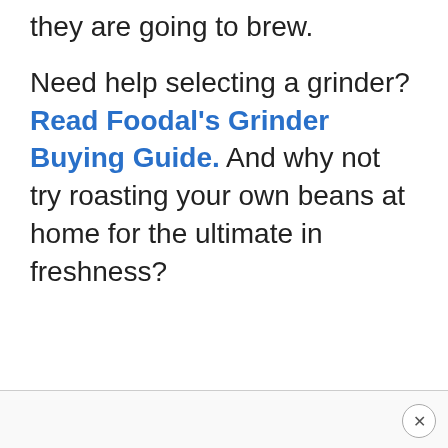they are going to brew.
Need help selecting a grinder? Read Foodal's Grinder Buying Guide. And why not try roasting your own beans at home for the ultimate in freshness?